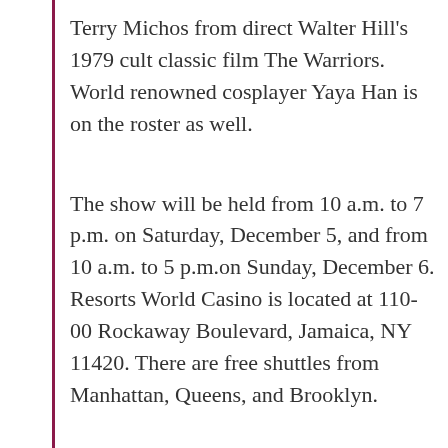Terry Michos from direct Walter Hill's 1979 cult classic film The Warriors. World renowned cosplayer Yaya Han is on the roster as well.
The show will be held from 10 a.m. to 7 p.m. on Saturday, December 5, and from 10 a.m. to 5 p.m.on Sunday, December 6. Resorts World Casino is located at 110-00 Rockaway Boulevard, Jamaica, NY 11420. There are free shuttles from Manhattan, Queens, and Brooklyn.
“We’re excited to bring New York fans a